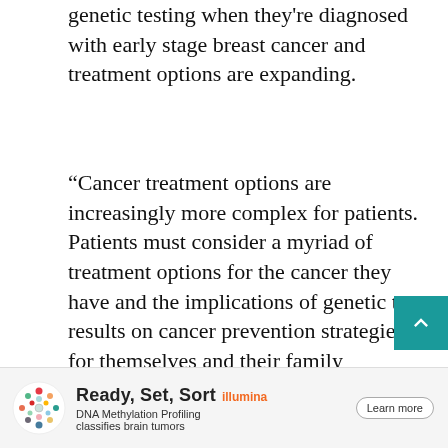genetic testing when they're diagnosed with early stage breast cancer and treatment options are expanding.
“Cancer treatment options are increasingly more complex for patients. Patients must consider a myriad of treatment options for the cancer they have and the implications of genetic test results on cancer prevention strategies for themselves and their family members,” says Steven J. Katz, M.D., MPH, and senior author of a study led by the University of Michigan Rogel Cancer Center and Stanford University School of Medicine.
[Figure (infographic): Advertisement banner for Illumina featuring a colorful circular DNA methylation logo, text 'Ready, Set, Sort', 'DNA Methylation Profiling classifies brain tumors', 'illumina' branding, and a 'Learn more' button.]